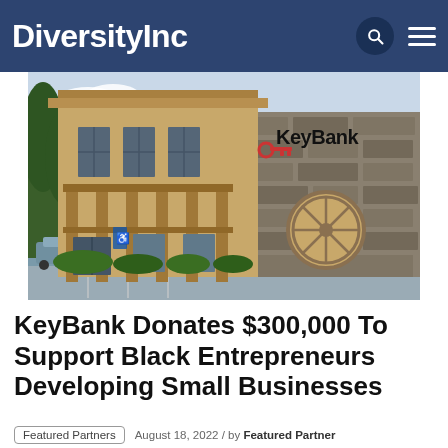DiversityInc
[Figure (photo): Exterior photograph of a KeyBank branch building. The building features wood and stone construction with large windows. A circular decorative wheel element is embedded in the stone wall. The KeyBank logo with a red key icon and 'KeyBank' text appears on the building facade. Trees and a parking lot are visible in the background.]
KeyBank Donates $300,000 To Support Black Entrepreneurs Developing Small Businesses
Featured Partners   August 18, 2022 / by Featured Partner